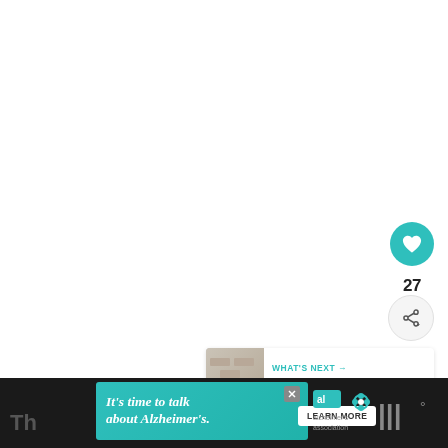[Figure (screenshot): White content area (blank/scrolled-past article content)]
[Figure (other): Floating action button: heart/like icon in teal circle]
27
[Figure (other): Floating action button: share icon in light gray circle]
[Figure (other): What's Next card with thumbnail image and text: 'WHAT'S NEXT → How to Update a Brick...']
[Figure (logo): Millennial Home logo (stylized M with degree symbol)]
[Figure (infographic): Advertisement banner: teal background with italic text 'It's time to talk about Alzheimer's.' and LEARN MORE button, Alzheimer's Association logo]
Th
[Figure (logo): Millennial Home logo large on dark strip]